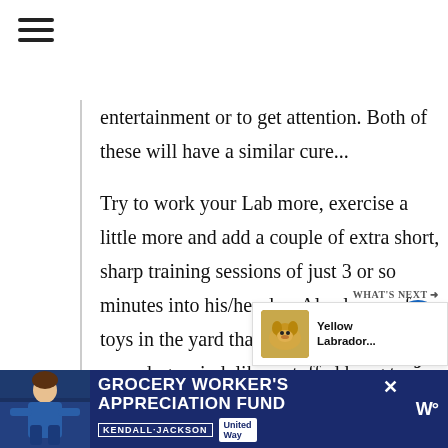[Figure (other): Hamburger menu icon (three horizontal bars)]
entertainment or to get attention. Both of these will have a similar cure...
Try to work your Lab more, exercise a little more and add a couple of extra short, sharp training sessions of just 3 or so minutes into his/her day. Also leave a few toys in the yard that are designed to occupy your dogs mind, like a stuffed kong toy or similar to provide mental stimulation. These actions will increase the attention your lab receives as well stave off boredom.
Try not to give your Lab any attention when...
[Figure (other): Heart/like button (blue circle with white heart icon) and share button]
[Figure (other): What's Next widget showing Yellow Labrador thumbnail and text]
[Figure (other): Advertisement banner: Grocery Worker's Appreciation Fund with Kendall Jackson and United Way logos]